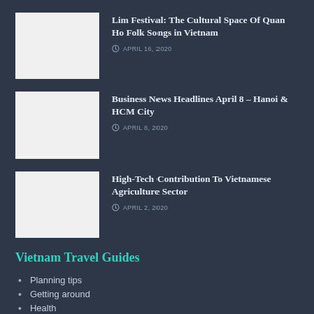Lim Festival: The Cultural Space Of Quan Ho Folk Songs in Vietnam
APRIL 16, 2020
Business News Headlines April 8 – Hanoi & HCM City
APRIL 8, 2020
High-Tech Contribution To Vietnamese Agriculture Sector
APRIL 2, 2020
Vietnam Travel Guides
Planning tips
Getting around
Health
Holidays
Learn Vietnamese
Taxes and Tips